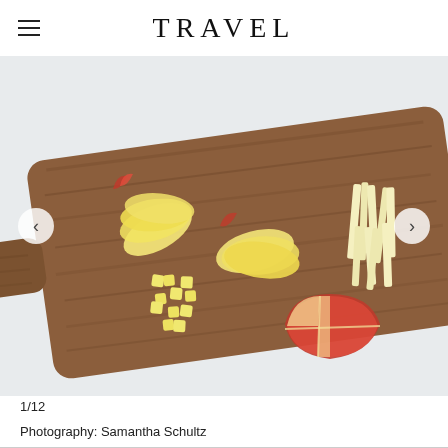TRAVEL
[Figure (photo): Photo of a wooden cutting board with various cuts of apple: slices fanned out, julienned strips, diced pieces, and wedges of red-skinned apple arranged on the board against a light background.]
1/12
Photography: Samantha Schultz